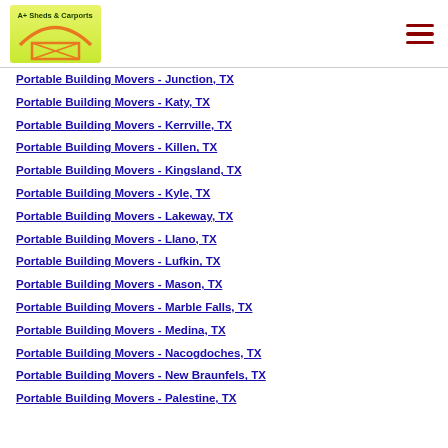[Figure (logo): A+ Sheds & Carports logo with green/yellow background and orange roof/barn graphic]
Portable Building Movers - Junction, TX
Portable Building Movers - Katy, TX
Portable Building Movers - Kerrville, TX
Portable Building Movers - Killen, TX
Portable Building Movers - Kingsland, TX
Portable Building Movers - Kyle, TX
Portable Building Movers - Lakeway, TX
Portable Building Movers - Llano, TX
Portable Building Movers - Lufkin, TX
Portable Building Movers - Mason, TX
Portable Building Movers - Marble Falls, TX
Portable Building Movers - Medina, TX
Portable Building Movers - Nacogdoches, TX
Portable Building Movers - New Braunfels, TX
Portable Building Movers - Palestine, TX